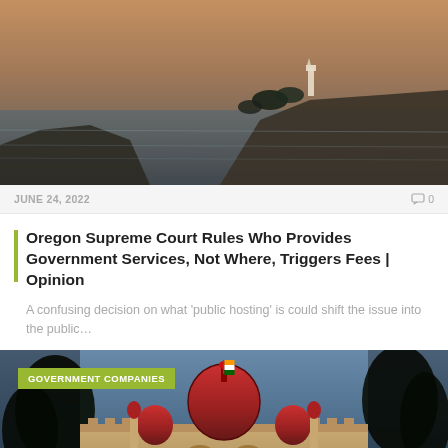[Figure (photo): Coastal landscape with lighthouse on a cliff at dusk/sunset, ocean visible in background with warm orange-grey tones]
JUNE 24, 2022   💬 0
Oregon Supreme Court Rules Who Provides Government Services, Not Where, Triggers Fees | Opinion
A confusing decision on what 'public hosting' is could shift the issue into the public…
[Figure (photo): Ornate government/historic building with red domes and Mughal-style architecture, trees framing the structure, likely in India. Category badge reads 'GOVERNMENT COMPANIES']